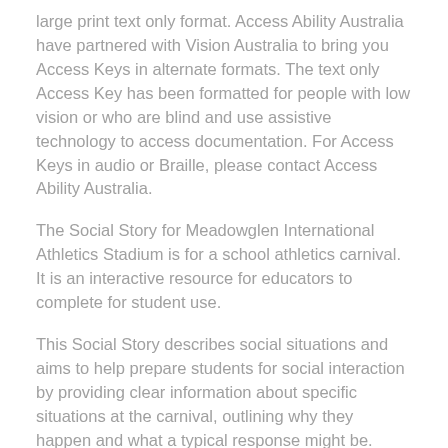large print text only format.  Access Ability Australia have partnered with Vision Australia to bring you Access Keys in alternate formats.  The text only Access Key has been formatted for people with low vision or who are blind and use assistive technology to access documentation.  For Access Keys in audio or Braille, please contact Access Ability Australia.
The Social Story for Meadowglen International Athletics Stadium is for a school athletics carnival.  It is an interactive resource for educators to complete for student use.
This Social Story describes social situations and aims to help prepare students for social interaction by providing clear information about specific situations at the carnival, outlining why they happen and what a typical response might be.